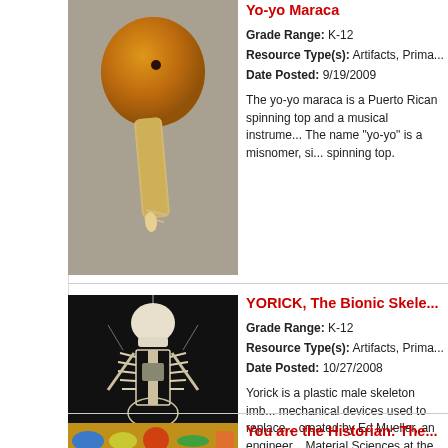[Figure (photo): Photograph of a yo-yo maraca, a Puerto Rican instrument resembling a spinning top with a gourd head and wooden handle]
Yo-yo Maraca
Grade Range: K-12
Resource Type(s): Artifacts, Prima...
Date Posted: 9/19/2009
The yo-yo maraca is a Puerto Rican spinning top and a musical instrume... The name "yo-yo" is a misnomer, si... spinning top.
[Figure (photo): Photograph of YORICK, a plastic male skeleton imbued with mechanical devices, displayed against a dark background]
YORICK, The Bionic Skele...
Grade Range: K-12
Resource Type(s): Artifacts, Prima...
Date Posted: 10/27/2008
Yorick is a plastic male skeleton imb... mechanical devices used to replace... created by Ed Mueller, an engineer... Material Sciences at the United Sta... (FDA), in Washington, D.C.
[Figure (screenshot): Screenshot of 'You are the Historian' interactive resource showing colorful illustrated items]
You are the Historian: The...
Grade Range: 2-6